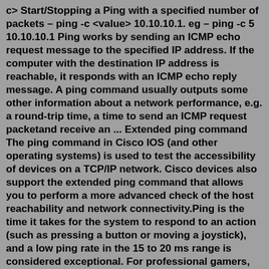c> Start/Stopping a Ping with a specified number of packets – ping -c <value> 10.10.10.1. eg – ping -c 5 10.10.10.1 Ping works by sending an ICMP echo request message to the specified IP address. If the computer with the destination IP address is reachable, it responds with an ICMP echo reply message. A ping command usually outputs some other information about a network performance, e.g. a round-trip time, a time to send an ICMP request packetand receive an ... Extended ping command The ping command in Cisco IOS (and other operating systems) is used to test the accessibility of devices on a TCP/IP network. Cisco devices also support the extended ping command that allows you to perform a more advanced check of the host reachability and network connectivity.Ping is the time it takes for the system to respond to an action (such as pressing a button or moving a joystick), and a low ping rate in the 15 to 20 ms range is considered exceptional. For professional gamers, low ping, high speeds, and guaranteed service